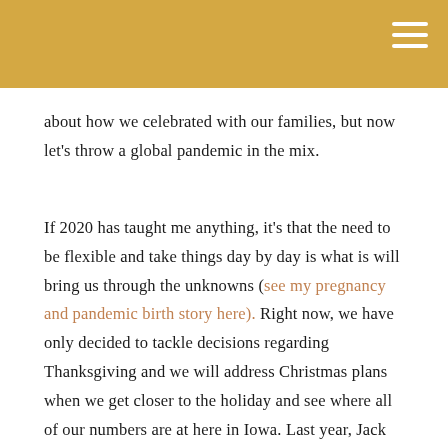about how we celebrated with our families, but now let's throw a global pandemic in the mix.
If 2020 has taught me anything, it's that the need to be flexible and take things day by day is what is will bring us through the unknowns (see my pregnancy and pandemic birth story here). Right now, we have only decided to tackle decisions regarding Thanksgiving and we will address Christmas plans when we get closer to the holiday and see where all of our numbers are at here in Iowa. Last year, Jack had pneumonia and was diagnosed with asthma on